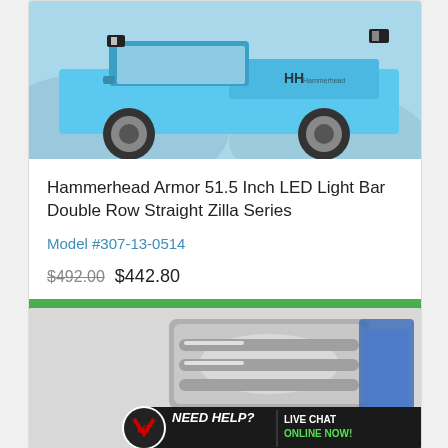[Figure (photo): Blue Jeep/off-road vehicle with Hammerhead Armor LED light bar mounted on top, with HH Hammerhead logo visible on the hood]
Hammerhead Armor 51.5 Inch LED Light Bar Double Row Straight Zilla Series
Model #307-13-0514
$492.00 $442.80
Buy Now
[Figure (photo): Close-up photo of a chrome/metal LED light bar product, with a 'Need Help? Live Chat Online Now!' banner overlay featuring the UT logo]